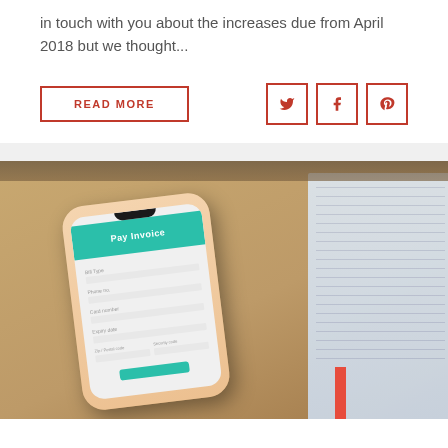in touch with you about the increases due from April 2018 but we thought...
READ MORE
[Figure (screenshot): Photo of a smartphone displaying a 'Pay Invoice' screen with teal header, resting on a tan/brown notebook beside financial papers with printed text and numbers.]